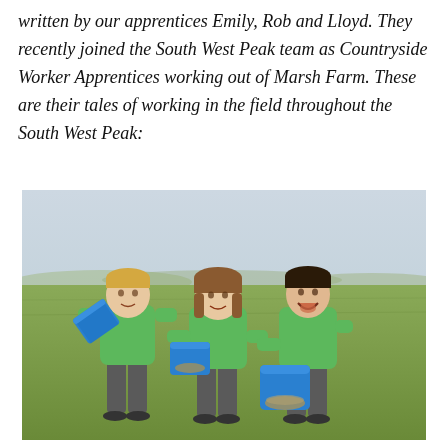written by our apprentices Emily, Rob and Lloyd. They recently joined the South West Peak team as Countryside Worker Apprentices working out of Marsh Farm. These are their tales of working in the field throughout the South West Peak:
[Figure (photo): Three young people wearing green polo shirts standing outdoors in a field with a wide landscape behind them. Each person is holding a blue bucket. The person on the left (male, blond) is holding his bucket angled outward. The person in the center (female) is smiling and holding her bucket at waist level. The person on the right (male) is laughing and holding a bucket filled with seeds/gravel. A backpack is visible on the right person.]